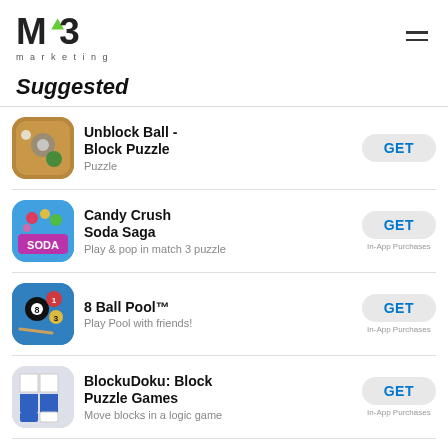[Figure (logo): MY3 marketing logo with green triangle accent and hamburger menu icon]
Suggested
Unblock Ball - Block Puzzle | Puzzle | GET
Candy Crush Soda Saga | Play & pop in match 3 puzzle | GET | In-App Purchases
8 Ball Pool™ | Play Pool with friends! | GET | In-App Purchases
BlockuDoku: Block Puzzle Games | Move blocks in a logic game | GET | In-App Purchases